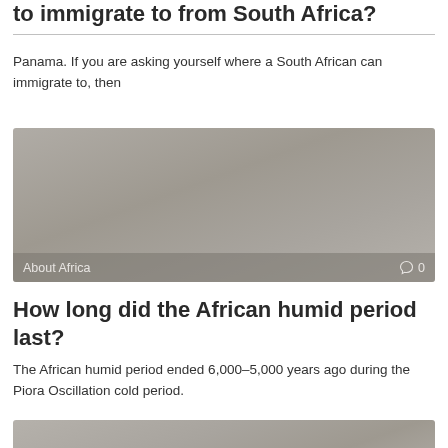to immigrate to from South Africa?
Panama. If you are asking yourself where a South African can immigrate to, then
[Figure (photo): Gray placeholder image with 'About Africa' label and comment count '0' in bottom bar]
How long did the African humid period last?
The African humid period ended 6,000–5,000 years ago during the Piora Oscillation cold period.
[Figure (photo): Gray placeholder image partially visible at bottom of page]